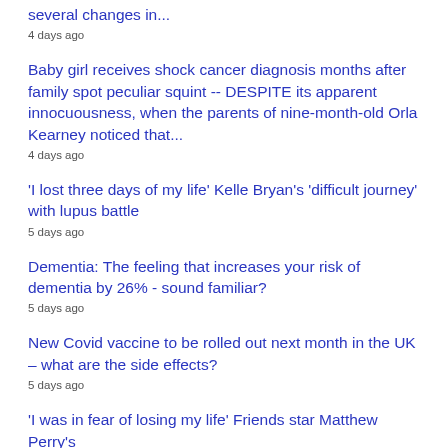several changes in...
4 days ago
Baby girl receives shock cancer diagnosis months after family spot peculiar squint -- DESPITE its apparent innocuousness, when the parents of nine-month-old Orla Kearney noticed that...
4 days ago
'I lost three days of my life' Kelle Bryan's 'difficult journey' with lupus battle
5 days ago
Dementia: The feeling that increases your risk of dementia by 26% - sound familiar?
5 days ago
New Covid vaccine to be rolled out next month in the UK – what are the side effects?
5 days ago
'I was in fear of losing my life' Friends star Matthew Perry's